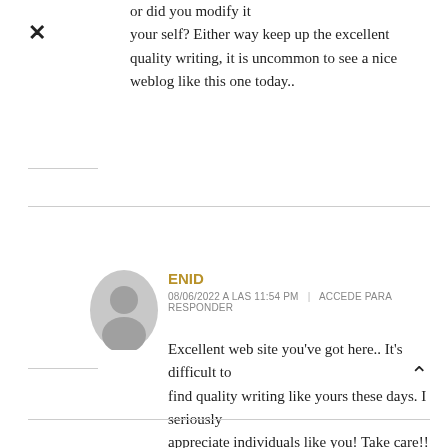or did you modify it your self? Either way keep up the excellent quality writing, it is uncommon to see a nice weblog like this one today..
ENID
08/06/2022 A LAS 11:54 PM   ACCEDE PARA RESPONDER
Excellent web site you've got here.. It's difficult to find quality writing like yours these days. I seriously appreciate individuals like you! Take care!!